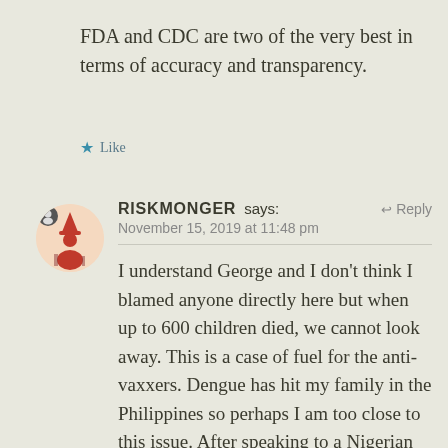FDA and CDC are two of the very best in terms of accuracy and transparency.
★ Like
RISKMONGER says:
November 15, 2019 at 11:48 pm
I understand George and I don't think I blamed anyone directly here but when up to 600 children died, we cannot look away. This is a case of fuel for the anti-vaxxers. Dengue has hit my family in the Philippines so perhaps I am too close to this issue. After speaking to a Nigerian on this